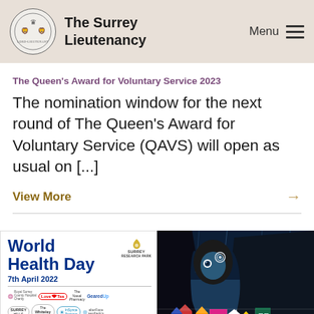The Surrey Lieutenancy
The Queen's Award for Voluntary Service 2023
The nomination window for the next round of The Queen's Award for Voluntary Service (QAVS) will open as usual on [...]
View More →
[Figure (infographic): World Health Day 7th April 2022 event poster with Surrey Research Park logo and multiple sponsor logos including Royal Surrey County Hospital Charity, Love Tea, The Nasal Pharmacy, GearedUp, Surrey Hills, The Whiteley Clinic, and others]
[Figure (illustration): Colorful artistic illustration of a woman figure with geometric patterned clothing in blues, pinks, yellows and blacks]